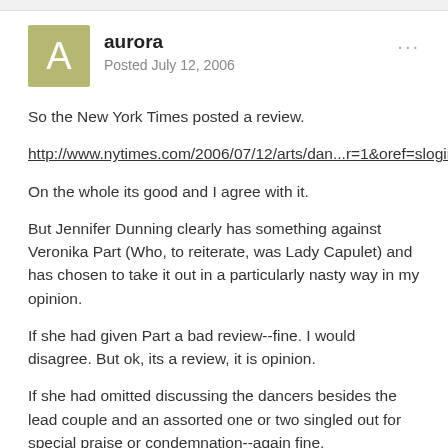aurora — Posted July 12, 2006
So the New York Times posted a review.
http://www.nytimes.com/2006/07/12/arts/dan...r=1&oref=slogin
On the whole its good and I agree with it.
But Jennifer Dunning clearly has something against Veronika Part (Who, to reiterate, was Lady Capulet) and has chosen to take it out in a particularly nasty way in my opinion.
If she had given Part a bad review--fine. I would disagree. But ok, its a review, it is opinion.
If she had omitted discussing the dancers besides the lead couple and an assorted one or two singled out for special praise or condemnation--again fine.
But instead, she listed the cast--including the nurse, including Lord Capulet, and omitted Lady Capulet/Veronika Part. In fact, in the thing